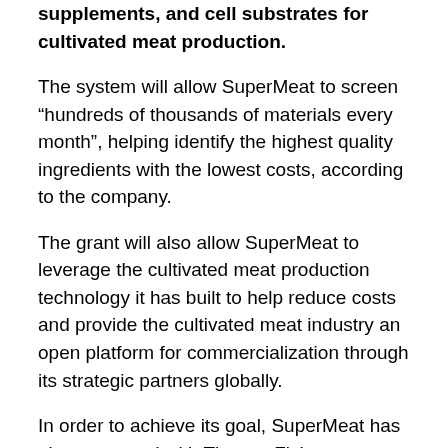supplements, and cell substrates for cultivated meat production.
The system will allow SuperMeat to screen “hundreds of thousands of materials every month”, helping identify the highest quality ingredients with the lowest costs, according to the company.
The grant will also allow SuperMeat to leverage the cultivated meat production technology it has built to help reduce costs and provide the cultivated meat industry an open platform for commercialization through its strategic partners globally.
In order to achieve its goal, SuperMeat has also partnered with Thermo Fisher Scientific, which provided the world’s most advanced screening platform and will support the development and operation of the system.
SuperMeat said that it aims to offer an “open standard” for cell feed ingredients that can be used by cultivated meat companies around the world moving toward